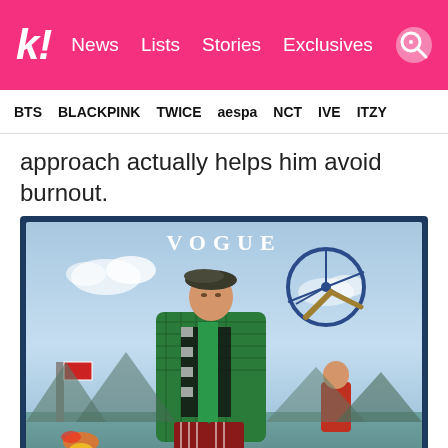k! News Lists Stories Exclusives [search]
BTS BLACKPINK TWICE aespa NCT IVE ITZY
approach actually helps him avoid burnout.
[Figure (photo): VOGUE magazine cover featuring a K-pop artist (BTS Jimin) wearing a green plaid oversized jacket, checkered top, beret hat, and striped pants, posed against a sky blue background with a vintage bicycle and artistic elements. Another person visible in the background wearing red.]